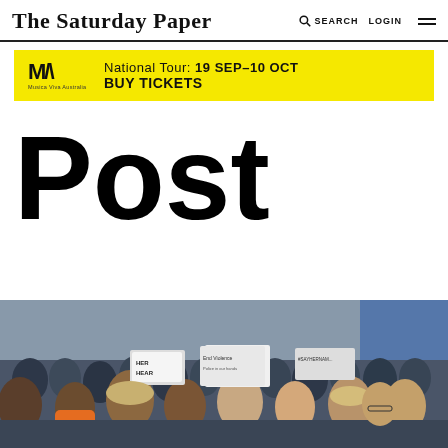The Saturday Paper | SEARCH | LOGIN
[Figure (infographic): Musica Viva Australia advertisement banner with yellow background. Logo shows stylized MVA initials. Text reads: National Tour: 19 SEP–10 OCT  BUY TICKETS]
Post
[Figure (photo): Crowd of protesters holding signs about ending violence. Signs visible include 'End Violence' and other protest placards. Diverse crowd of young people.]